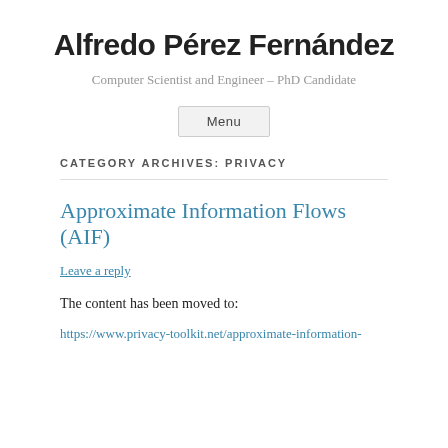Alfredo Pérez Fernández
Computer Scientist and Engineer – PhD Candidate
Menu
CATEGORY ARCHIVES: PRIVACY
Approximate Information Flows (AIF)
Leave a reply
The content has been moved to:
https://www.privacy-toolkit.net/approximate-information-